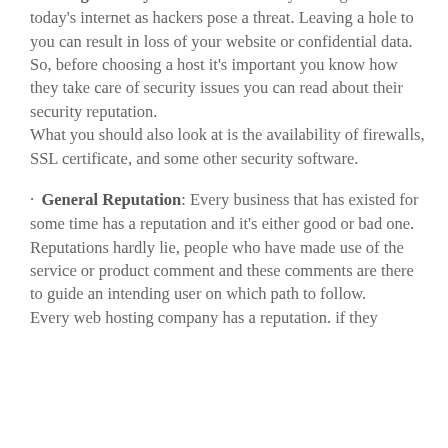Strong Security: Website site security is a big concern in today's internet as hackers pose a threat. Leaving a hole to you can result in loss of your website or confidential data.
So, before choosing a host it's important you know how they take care of security issues you can read about their security reputation.
What you should also look at is the availability of firewalls, SSL certificate, and some other security software.
General Reputation: Every business that has existed for some time has a reputation and it's either good or bad one. Reputations hardly lie, people who have made use of the service or product comment and these comments are there to guide an intending user on which path to follow.
Every web hosting company has a reputation. if they